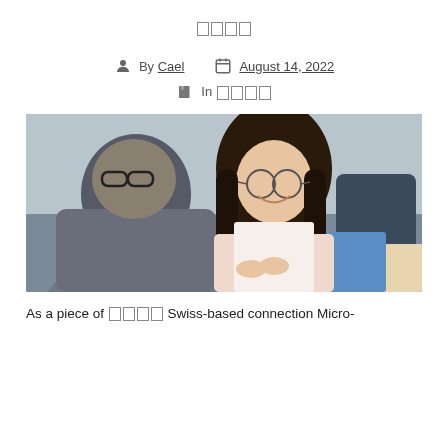□□□□
By Cael   August 14, 2022   In □□□□
[Figure (photo): Two people in a business/office setting. A woman with glasses and long dark hair is smiling and looking at a man seen from behind who is wearing a suit jacket. They appear to be in a meeting or consultation.]
As a piece of □□□□ Swiss-based connection Micro-